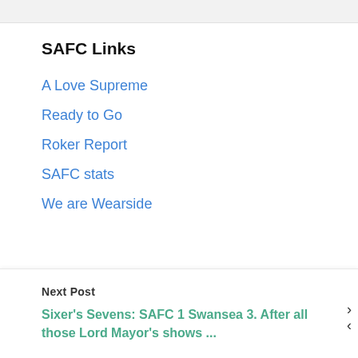SAFC Links
A Love Supreme
Ready to Go
Roker Report
SAFC stats
We are Wearside
Next Post
Sixer's Sevens: SAFC 1 Swansea 3. After all those Lord Mayor's shows ...